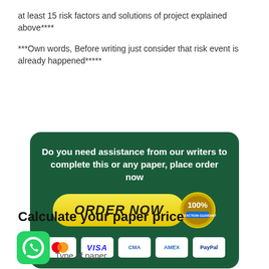at least 15 risk factors and solutions of project explained above****
***Own words, Before writing just consider that risk event is already happened*****
[Figure (infographic): Dark green rounded rectangle banner with white bold text: 'Do you need assistance from our writers to complete this or any paper, place order now', a yellow ORDER NOW button with italic bold black text, a gold 100% satisfaction guarantee badge, and payment icons: Mastercard, VISA, CMA, AMEX, PayPal]
Calculate your paper price
Type of paper